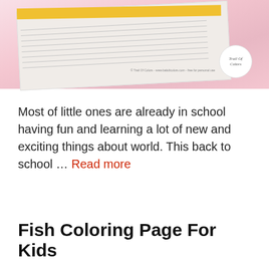[Figure (photo): A coloring page photo showing white lined paper with a yellow strip header on a pink polka-dot background, with a 'Trail of Colors' logo circle in the bottom right.]
Most of little ones are already in school having fun and learning a lot of new and exciting things about world. This back to school … Read more
Fish Coloring Page For Kids